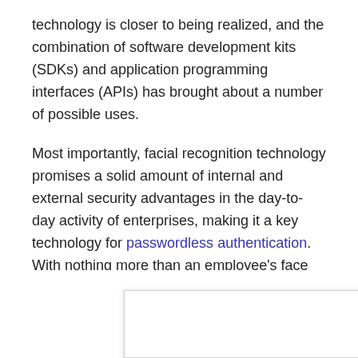technology is closer to being realized, and the combination of software development kits (SDKs) and application programming interfaces (APIs) has brought about a number of possible uses.
Most importantly, facial recognition technology promises a solid amount of internal and external security advantages in the day-to-day activity of enterprises, making it a key technology for passwordless authentication. With nothing more than an employee's face needed to gain access, accounts can be set up and access levels changed relatively easily, without the hassle or insecurity of improperly saved passwords.
Also read: Passwordless Authentication 101...